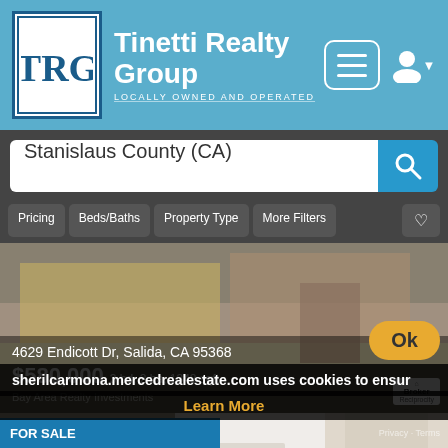[Figure (screenshot): Tinetti Realty Group website header with teal background, TRG logo, brand name, menu and user icons]
Tinetti Realty Group
LOCALLY OWNED AND OPERATED
Stanislaus County (CA)
Pricing  Beds/Baths  Property Type  More Filters
[Figure (photo): Property listing photo for 4629 Endicott Dr, Salida, CA 95368 showing a garage/driveway area]
4629 Endicott Dr, Salida, CA 95368
$580,000 3 bd, 2 ba, 1348 sqft
Bay Area Realty Investments
[Figure (photo): Interior photo of property at 3212 Vintage Dr, Modesto, CA 95356 showing white doors, hallway and staircase]
3212 Vintage Dr, Modesto, CA 95356
$599,999 4 bd, 3 ba, 2003 sqft
sherilcarmona.mercedrealestate.com uses cookies to ensure
Ok
Learn More
Privacy · Terms
FOR SALE